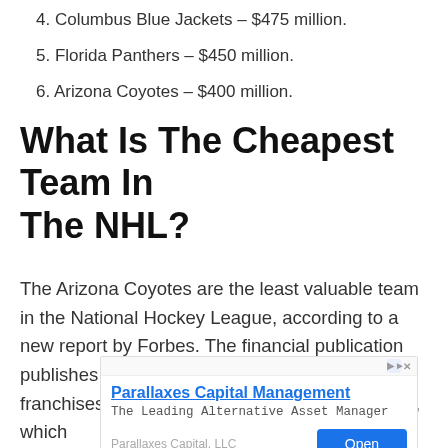4. Columbus Blue Jackets – $475 million.
5. Florida Panthers – $450 million.
6. Arizona Coyotes – $400 million.
What Is The Cheapest Team In The NHL?
The Arizona Coyotes are the least valuable team in the National Hockey League, according to a new report by Forbes. The financial publication publishes a list every year ranking the NHL franchises by their valuation, and in the 2021 list, which
[Figure (other): Advertisement for Parallaxes Capital Management showing company name as link, tagline 'The Leading Alternative Asset Manager', company label 'Parallaxes Capital, LLC', and an Open button.]